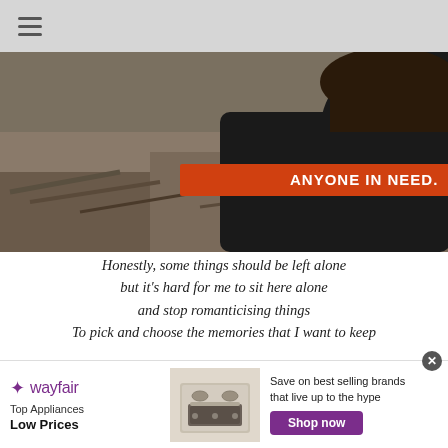Navigation menu (hamburger icon)
[Figure (photo): A person wearing a black jacket with 'DirectR' logo on the back, standing amid debris. Text overlay reads 'ANYONE IN NEED.' in orange on a red/orange banner.]
Honestly, some things should be left alone but it's hard for me to sit here alone and stop romanticising things To pick and choose the memories that I want to keep
[Figure (photo): Partial view of a person with dark hair in an indoor setting.]
[Figure (infographic): Wayfair advertisement banner: 'Top Appliances Low Prices' with image of a stove. Text reads 'Save on best selling brands that live up to the hype' with a purple 'Shop now' button.]